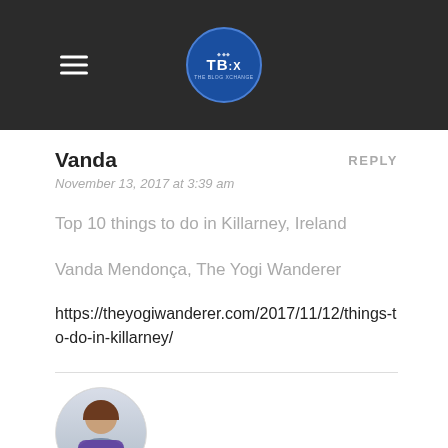[Figure (logo): Dark header bar with hamburger menu icon on the left and a circular TBX logo in the center on a dark background]
Vanda
REPLY
November 13, 2017 at 3:39 am
Top 10 things to do in Killarney, Ireland
Vanda Mendonça, The Yogi Wanderer
https://theyogiwanderer.com/2017/11/12/things-to-do-in-killarney/
[Figure (photo): Circular avatar photo of a woman with long brown hair wearing a purple scarf]